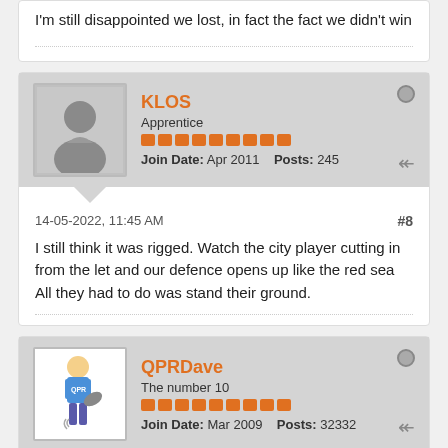I'm still disappointed we lost, in fact the fact we didn't win
KLOS
Apprentice
Join Date: Apr 2011   Posts: 245
14-05-2022, 11:45 AM
#8
I still think it was rigged. Watch the city player cutting in from the let and our defence opens up like the red sea All they had to do was stand their ground.
QPRDave
The number 10
Join Date: Mar 2009   Posts: 32332